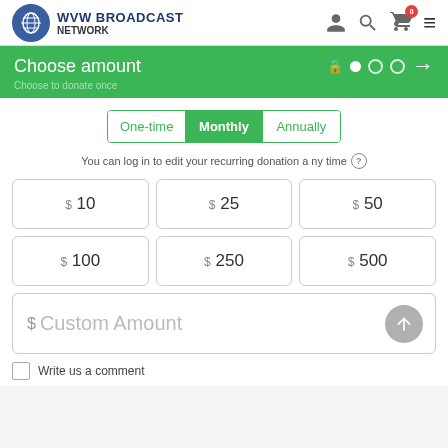WVW BROADCAST NETWORK
Choose amount
One-time | Monthly | Annually
You can log in to edit your recurring donation any time
$ 10
$ 25
$ 50
$ 100
$ 250
$ 500
$ Custom Amount
Write us a comment